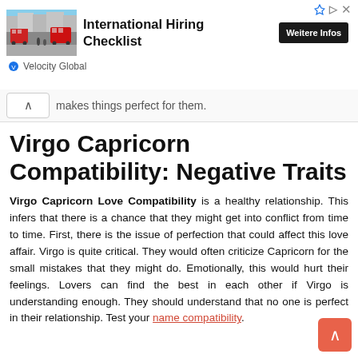[Figure (screenshot): Advertisement banner for 'International Hiring Checklist' by Velocity Global. Shows a street photo with red double-decker buses, bold ad title text, a dark 'Weitere Infos' button, and Velocity Global provider logo.]
makes things perfect for them.
Virgo Capricorn Compatibility: Negative Traits
Virgo Capricorn Love Compatibility is a healthy relationship. This infers that there is a chance that they might get into conflict from time to time. First, there is the issue of perfection that could affect this love affair. Virgo is quite critical. They would often criticize Capricorn for the small mistakes that they might do. Emotionally, this would hurt their feelings. Lovers can find the best in each other if Virgo is understanding enough. They should understand that no one is perfect in their relationship. Test your name compatibility.